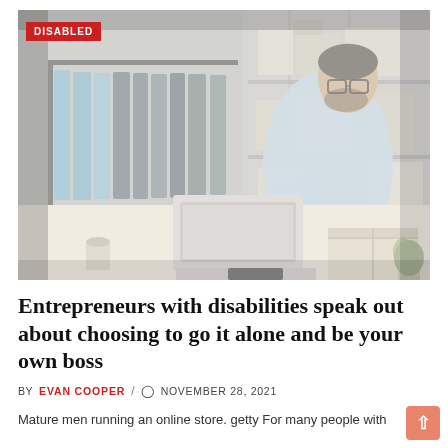[Figure (photo): A mature man with glasses and a beard, wearing a light blue shirt, working at a laptop in a small business or warehouse setting with clothing racks and cardboard boxes on shelves in the background. The image has a slightly faded/washed-out appearance.]
DISABLED
Entrepreneurs with disabilities speak out about choosing to go it alone and be your own boss
BY EVAN COOPER / ⏰ NOVEMBER 28, 2021
Mature men running an online store. getty For many people with